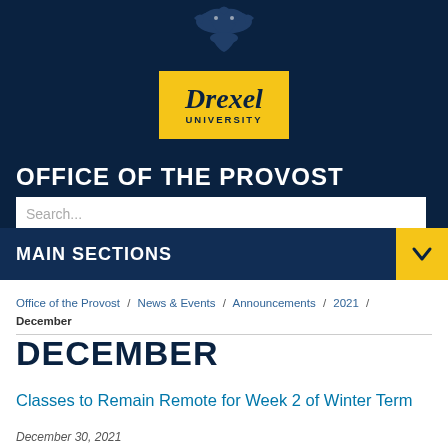[Figure (logo): Drexel University logo: yellow box with 'Drexel University' text and dark blue dragon above]
OFFICE OF THE PROVOST
MAIN SECTIONS
Office of the Provost / News & Events / Announcements / 2021 / December
DECEMBER
Classes to Remain Remote for Week 2 of Winter Term
December 30, 2021